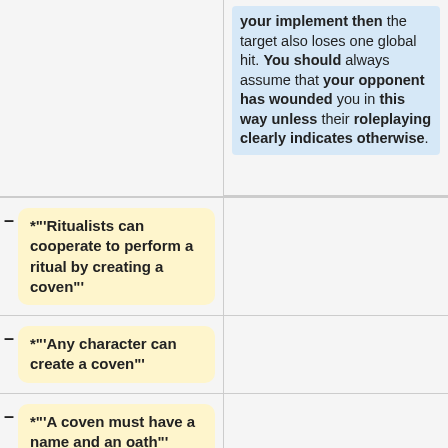your implement then the target also loses one global hit. You should always assume that your opponent has wounded you in this way unless their roleplaying clearly indicates otherwise.
*"'Ritualists can cooperate to perform a ritual by creating a coven"'
*"'Any character can create a coven"'
*"'A coven must have a name and an oath"'
*"'Ritualists join the coven by bonding themselves to it"'